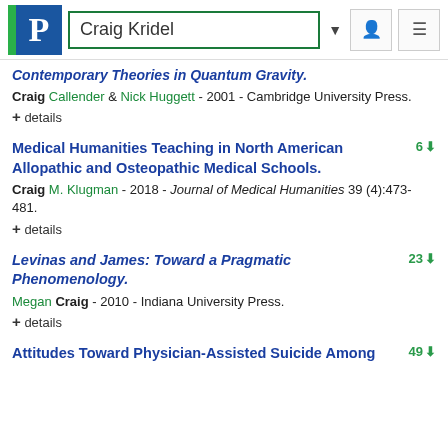Craig Kridel
Contemporary Theories in Quantum Gravity.
Craig Callender & Nick Huggett - 2001 - Cambridge University Press.
+ details
Medical Humanities Teaching in North American Allopathic and Osteopathic Medical Schools.
Craig M. Klugman - 2018 - Journal of Medical Humanities 39 (4):473-481.
+ details
6 downloads
Levinas and James: Toward a Pragmatic Phenomenology.
Megan Craig - 2010 - Indiana University Press.
+ details
23 downloads
Attitudes Toward Physician-Assisted Suicide Among
49 downloads